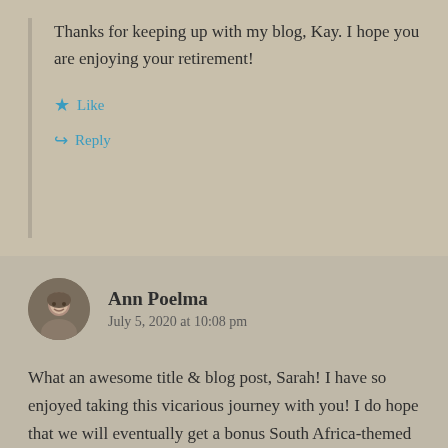Thanks for keeping up with my blog, Kay. I hope you are enjoying your retirement!
Like
Reply
Ann Poelma
July 5, 2020 at 10:08 pm
What an awesome title & blog post, Sarah! I have so enjoyed taking this vicarious journey with you! I do hope that we will eventually get a bonus South Africa-themed post, but your